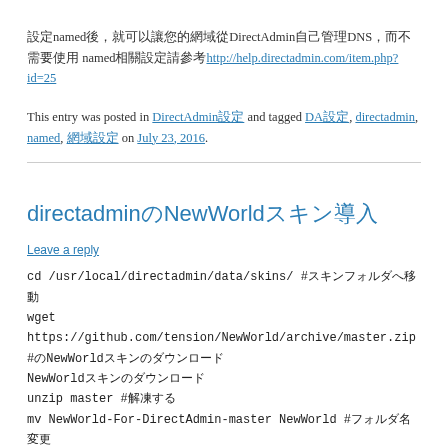設定named後，就可以讓您的網域從DirectAdmin自己管理DNS，而不需要使用named相關設定請參考http://help.directadmin.com/item.php?id=25
This entry was posted in DirectAdmin設定 and tagged DA設定, directadmin, named, 網域設定 on July 23, 2016.
directadminのNewWorldスキン導入
Leave a reply
cd /usr/local/directadmin/data/skins/ #スキンフォルダへ移動
wget https://github.com/tension/NewWorld/archive/master.zip #NewWorldスキンのダウンロード
unzip master #解凍する
mv NewWorld-For-DirectAdmin-master NewWorld #フォルダ名変更